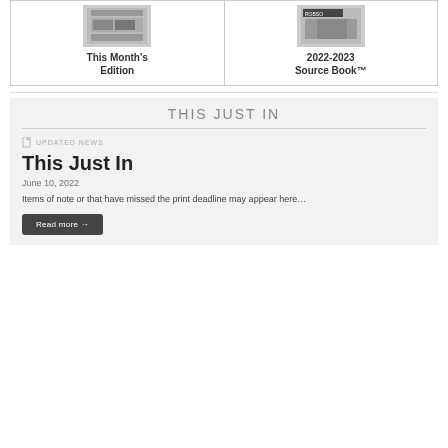[Figure (other): Thumbnail image of This Month's Edition publication cover]
This Month's Edition
[Figure (other): Thumbnail image of 2022-2023 Source Book publication cover with ROBSO branding]
2022-2023 Source Book™
THIS JUST IN
UPDATED NEWS
This Just In
June 10, 2022
Items of note or that have missed the print deadline may appear here…
Read more →